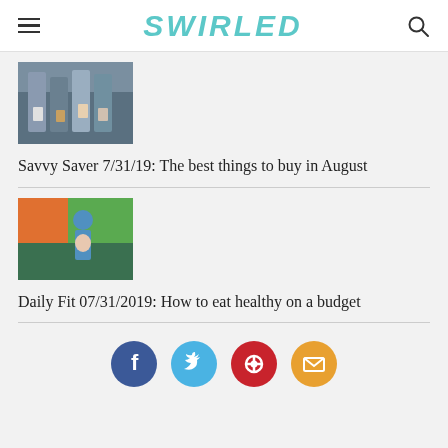SWIRLED
[Figure (photo): People holding shopping bags, cropped at torso level]
Savvy Saver 7/31/19: The best things to buy in August
[Figure (photo): Woman in teal top with backpack browsing produce at a grocery store]
Daily Fit 07/31/2019: How to eat healthy on a budget
[Figure (infographic): Social media share icons: Facebook, Twitter, Pinterest, Email]